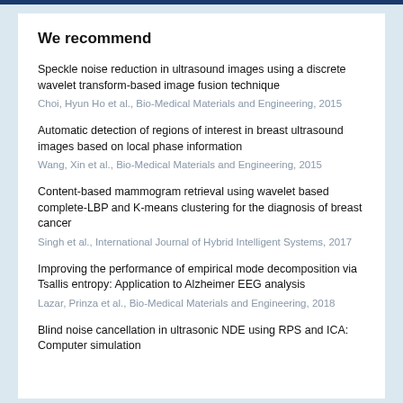We recommend
Speckle noise reduction in ultrasound images using a discrete wavelet transform-based image fusion technique
Choi, Hyun Ho et al., Bio-Medical Materials and Engineering, 2015
Automatic detection of regions of interest in breast ultrasound images based on local phase information
Wang, Xin et al., Bio-Medical Materials and Engineering, 2015
Content-based mammogram retrieval using wavelet based complete-LBP and K-means clustering for the diagnosis of breast cancer
Singh et al., International Journal of Hybrid Intelligent Systems, 2017
Improving the performance of empirical mode decomposition via Tsallis entropy: Application to Alzheimer EEG analysis
Lazar, Prinza et al., Bio-Medical Materials and Engineering, 2018
Blind noise cancellation in ultrasonic NDE using RPS and ICA: Computer simulation